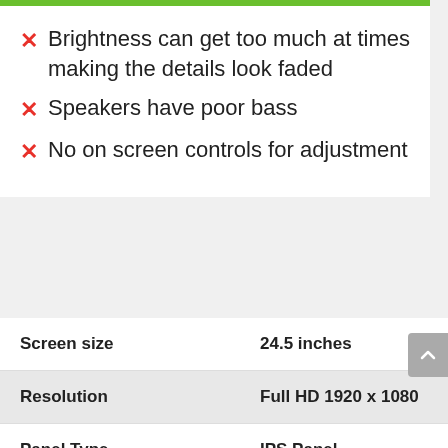Brightness can get too much at times making the details look faded
Speakers have poor bass
No on screen controls for adjustment
|  |  |
| --- | --- |
| Screen size | 24.5 inches |
| Resolution | Full HD 1920 x 1080 |
| Panel Type | IPS Panel |